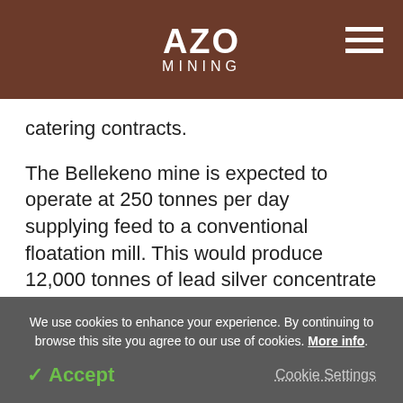AZO MINING
catering contracts.
The Bellekeno mine is expected to operate at 250 tonnes per day supplying feed to a conventional floatation mill. This would produce 12,000 tonnes of lead silver concentrate and 8,400 tonnes of zinc concentrate per year. At which rate it would produce about 2.8 million ounces of silver annually.
We use cookies to enhance your experience. By continuing to browse this site you agree to our use of cookies. More info.
Accept   Cookie Settings